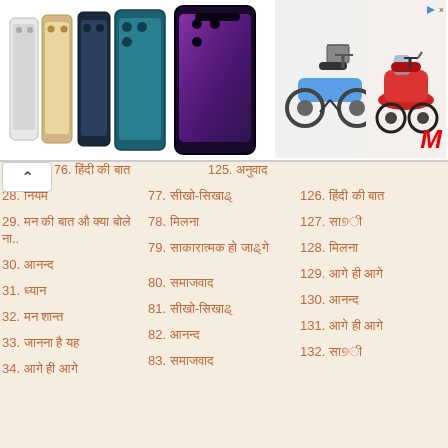[Figure (screenshot): Advertisement banner with iPhone 12 Pro set, iPhone 13 Pro, electric bicycle, red scooter, and Mediamarkt logo]
76. हिंदी की बात
125. अनुवाद
28. नियम
77. सीखो-सिखाओ
126. हिंदी की बात
29. मन की बात औ क्या बोलें..
78. मिलना
127. साथी
30. आनन्द
79. साकारात्मक हो जाओगे
128. मिलना
31. ध्यान
129. आगे ही आगे
80. समाजवाद
32. मन शान्त
130. आनन्द
81. सीखो-सिखाओ
33. जानना है यह
131. आगे ही आगे
82. आनन्द
34. आगे ही आगे
132. साथी
83. समाजवाद